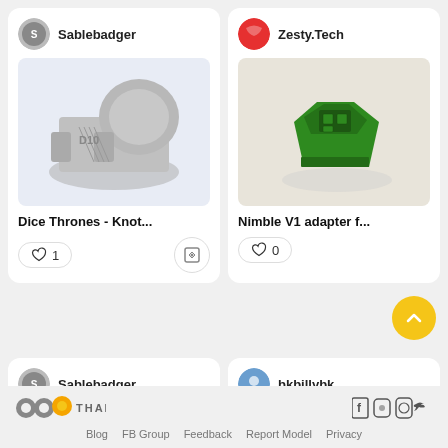[Figure (screenshot): Card showing Sablebadger user avatar with username Sablebadger, a 3D printed grey dice throne knot holder model image, title 'Dice Thrones - Knot...', 1 like and view icon]
[Figure (screenshot): Card showing Zesty.Tech user avatar (red circle logo) with username Zesty.Tech, a green 3D printed Nimble V1 adapter model image, title 'Nimble V1 adapter f...', 0 likes]
[Figure (screenshot): Bottom card showing Sablebadger user avatar with username Sablebadger]
[Figure (screenshot): Bottom card showing bkbillybk user avatar with username bkbillybk]
[Figure (logo): Thangs logo with two grey circles and an orange circle speech bubble, with THANGS text]
[Figure (infographic): Social media icons: Facebook, Discord, Instagram, Twitter]
Blog  FB Group  Feedback  Report Model  Privacy